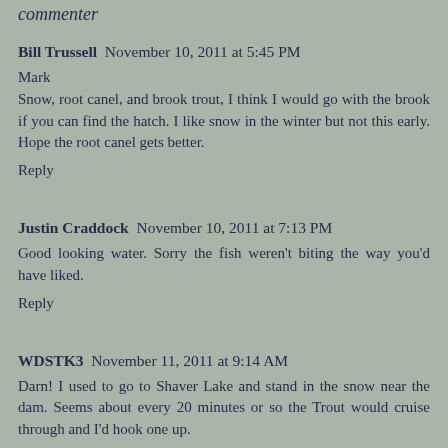commenter
Bill Trussell November 10, 2011 at 5:45 PM
Mark
Snow, root canel, and brook trout, I think I would go with the brook if you can find the hatch. I like snow in the winter but not this early. Hope the root canel gets better.
Reply
Justin Craddock November 10, 2011 at 7:13 PM
Good looking water. Sorry the fish weren't biting the way you'd have liked.
Reply
WDSTK3 November 11, 2011 at 9:14 AM
Darn! I used to go to Shaver Lake and stand in the snow near the dam. Seems about every 20 minutes or so the Trout would cruise through and I'd hook one up.